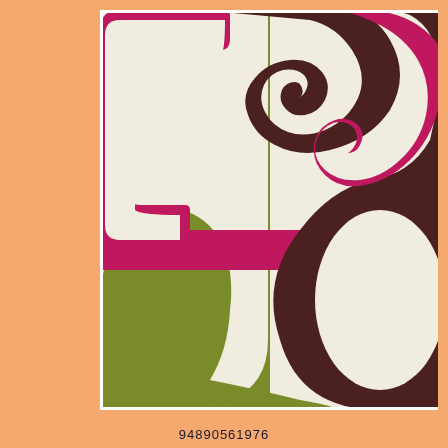[Figure (illustration): Abstract mid-century modern style artwork depicting overlapping rounded rectangular shapes and curved forms in cream/white background with bold colors: dark brown, olive/lime green, and magenta/crimson. The shapes create an interlocking geometric pattern reminiscent of retro textile or rug design.]
94890561976